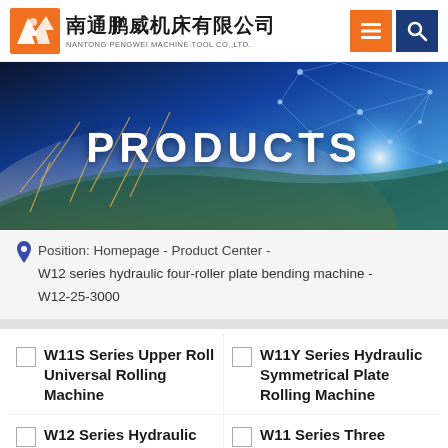[Figure (logo): Nantong Pengwei Machine Tool Co., Ltd. logo with Chinese characters and orange bird icon]
[Figure (photo): Hero banner showing earth from space with glowing network lines, blue tech background, with 'PRODUCTS' text overlay]
Position: Homepage - Product Center - W12 series hydraulic four-roller plate bending machine - W12-25-3000
W11S Series Upper Roll Universal Rolling Machine
W11Y Series Hydraulic Symmetrical Plate Rolling Machine
W12 Series Hydraulic Four... (truncated)
W11 Series Three Roller... (truncated)